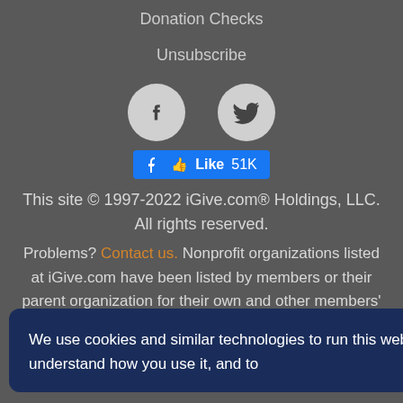Donation Checks
Unsubscribe
[Figure (illustration): Facebook and Twitter social media icons as circles, with a Facebook Like button showing 51K likes]
This site © 1997-2022 iGive.com® Holdings, LLC. All rights reserved.
Problems? Contact us. Nonprofit organizations listed at iGive.com have been listed by members or their parent organization for their own and other members' use. A listing at iGive.com is not an endorsement of iGive.com by the nonprofit organization/merchant, nor an
We use cookies and similar technologies to run this website, understand how you use it, and to